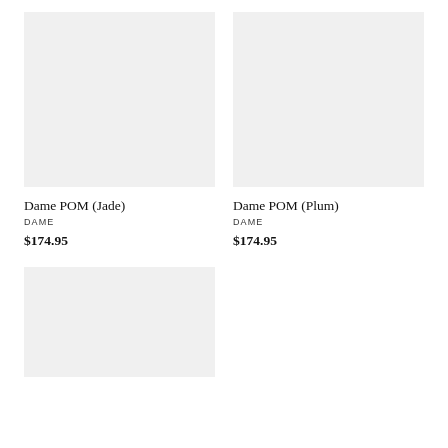[Figure (photo): Product image placeholder for Dame POM (Jade) - light gray rectangle]
[Figure (photo): Product image placeholder for Dame POM (Plum) - light gray rectangle]
Dame POM (Jade)
DAME
$174.95
Dame POM (Plum)
DAME
$174.95
[Figure (photo): Product image placeholder (third product) - light gray rectangle, partially visible]